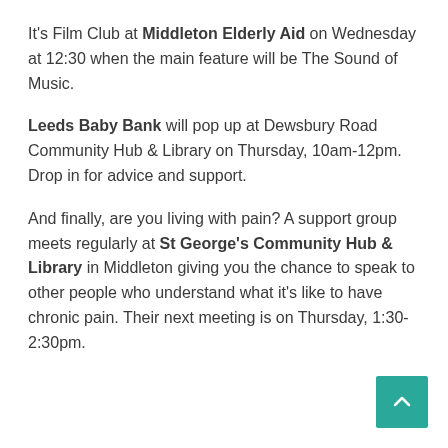It's Film Club at Middleton Elderly Aid on Wednesday at 12:30 when the main feature will be The Sound of Music.
Leeds Baby Bank will pop up at Dewsbury Road Community Hub & Library on Thursday, 10am-12pm. Drop in for advice and support.
And finally, are you living with pain? A support group meets regularly at St George's Community Hub & Library in Middleton giving you the chance to speak to other people who understand what it's like to have chronic pain. Their next meeting is on Thursday, 1:30-2:30pm.